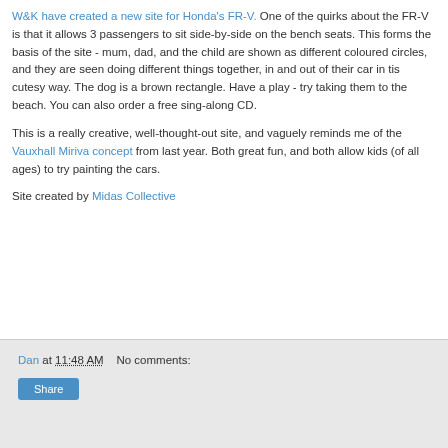W&K have created a new site for Honda's FR-V. One of the quirks about the FR-V is that it allows 3 passengers to sit side-by-side on the bench seats. This forms the basis of the site - mum, dad, and the child are shown as different coloured circles, and they are seen doing different things together, in and out of their car in tis cutesy way. The dog is a brown rectangle. Have a play - try taking them to the beach. You can also order a free sing-along CD.
This is a really creative, well-thought-out site, and vaguely reminds me of the Vauxhall Miriva concept from last year. Both great fun, and both allow kids (of all ages) to try painting the cars.
Site created by Midas Collective
Dan at 11:48 AM    No comments:
Share